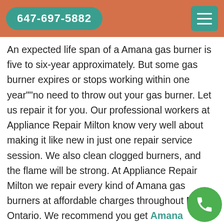647-697-5882
An expected life span of a Amana gas burner is five to six-year approximately. But some gas burner expires or stops working within one year""no need to throw out your gas burner. Let us repair it for you. Our professional workers at Appliance Repair Milton know very well about making it like new in just one repair service session. We also clean clogged burners, and the flame will be strong. At Appliance Repair Milton we repair every kind of Amana gas burners at affordable charges throughout Milton, Ontario. We recommend you get Amana Kitchen Appliances Repair Services annually or according to the manufacturer's instruction from our talented staff. Appliance